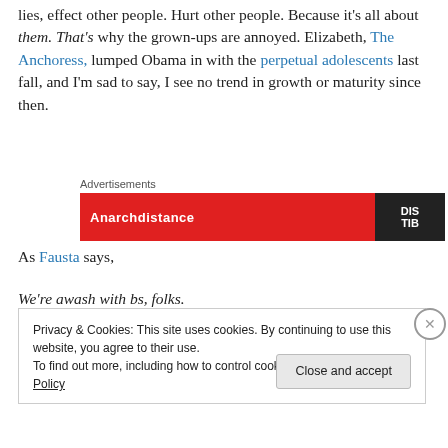lies, effect other people. Hurt other people. Because it's all about them. That's why the grown-ups are annoyed. Elizabeth, The Anchoress, lumped Obama in with the perpetual adolescents last fall, and I'm sad to say, I see no trend in growth or maturity since then.
[Figure (screenshot): Advertisement banner with red background, white text reading 'Anarchistance' and a dark block on the right with 'DIS TIB' text]
As Fausta says,
We're awash with bs, folks.
Privacy & Cookies: This site uses cookies. By continuing to use this website, you agree to their use.
To find out more, including how to control cookies, see here: Cookie Policy